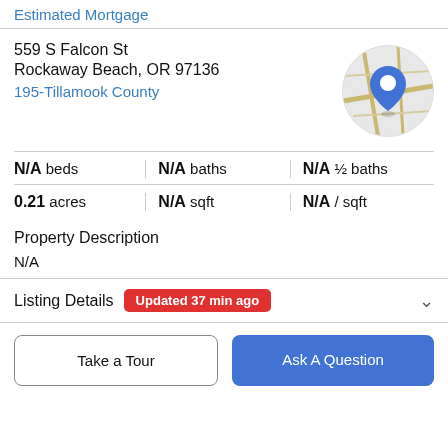Estimated Mortgage
559 S Falcon St
Rockaway Beach, OR 97136
195-Tillamook County
[Figure (map): Circular map thumbnail showing a street map with a blue location pin marker]
N/A beds | N/A baths | N/A ½ baths
0.21 acres | N/A sqft | N/A / sqft
Property Description
N/A
Listing Details  Updated 37 min ago
Take a Tour
Ask A Question